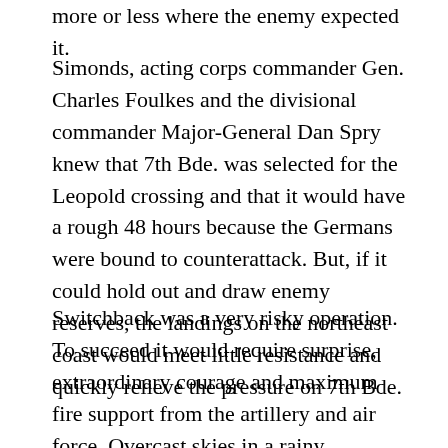more or less where the enemy expected it.
Simonds, acting corps commander Gen. Charles Foulkes and the divisional commander Major-General Dan Spry knew that 7th Bde. was selected for the Leopold crossing and that it would have a rough 48 hours because the Germans were bound to counterattack. But, if it could hold out and draw enemy reserves, the landings on the northeast coast would meet little resistance and quickly relieve the pressure on 7th Bde.
Switchback was a very risky operation. To succeed it would require surprise, extraordinary courage and maximum fire support from the artillery and air force. Overcast skies in a rainy October weather had limited air activity for